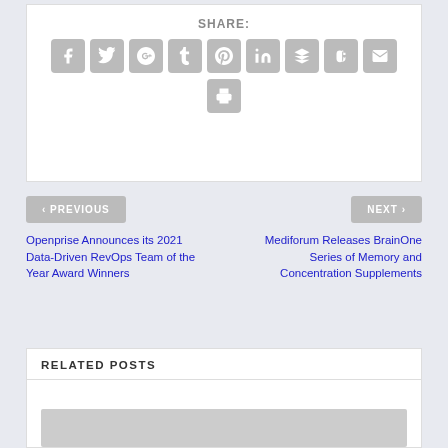SHARE:
[Figure (other): Social share icons: Facebook, Twitter, Google+, Tumblr, Pinterest, LinkedIn, Buffer, StumbleUpon, Email, Print]
< PREVIOUS
NEXT >
Openprise Announces its 2021 Data-Driven RevOps Team of the Year Award Winners
Mediforum Releases BrainOne Series of Memory and Concentration Supplements
RELATED POSTS